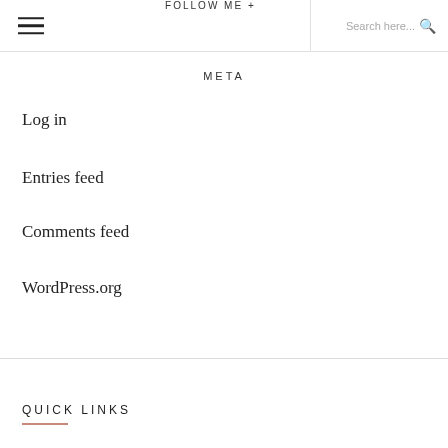≡  FOLLOW ME +  Search here...
META
Log in
Entries feed
Comments feed
WordPress.org
QUICK LINKS